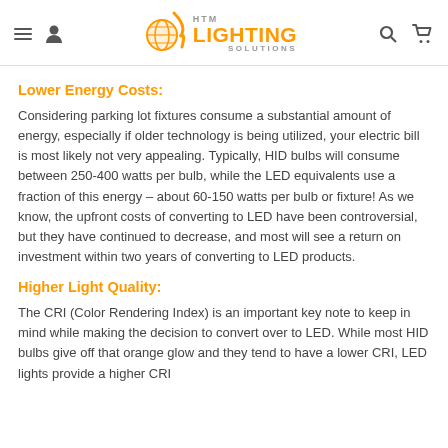HTM Lighting Solutions
Lower Energy Costs:
Considering parking lot fixtures consume a substantial amount of energy, especially if older technology is being utilized, your electric bill is most likely not very appealing. Typically, HID bulbs will consume between 250-400 watts per bulb, while the LED equivalents use a fraction of this energy – about 60-150 watts per bulb or fixture! As we know, the upfront costs of converting to LED have been controversial, but they have continued to decrease, and most will see a return on investment within two years of converting to LED products.
Higher Light Quality:
The CRI (Color Rendering Index) is an important key note to keep in mind while making the decision to convert over to LED. While most HID bulbs give off that orange glow and they tend to have a lower CRI, LED lights provide a higher CRI